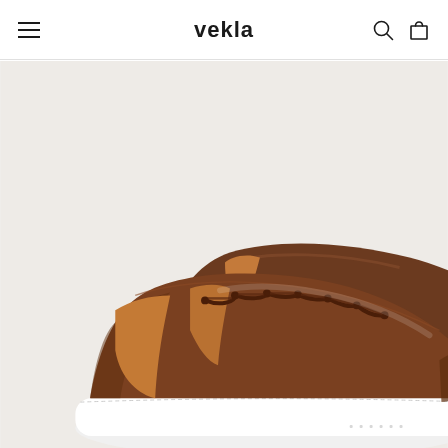vekla — navigation header with hamburger menu, search icon, and cart icon
[Figure (photo): Two brown leather low-top sneakers with white rubber soles and dark brown laces, displayed side by side on a light grey background. The shoes have a clean minimal design with smooth grained leather uppers and tan leather lining visible at the collar.]